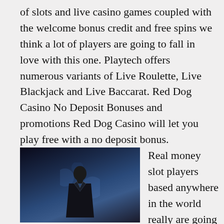of slots and live casino games coupled with the welcome bonus credit and free spins we think a lot of players are going to fall in love with this one. Playtech offers numerous variants of Live Roulette, Live Blackjack and Live Baccarat. Red Dog Casino No Deposit Bonuses and promotions Red Dog Casino will let you play free with a no deposit bonus.
[Figure (photo): A dark, moody screenshot from a film or video showing a person in a suit against a blurred blue-lit background.]
Real money slot players based anywhere in the world really are going to have a huge and ever changing range of